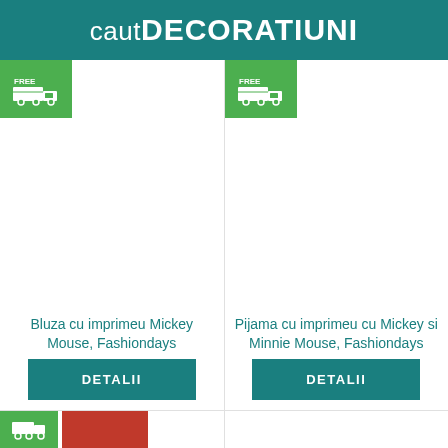caut DECORATIUNI
[Figure (logo): Green free shipping truck badge for left product]
[Figure (photo): Product image area for Bluza cu imprimeu Mickey Mouse, Fashiondays (white/blank)]
Bluza cu imprimeu Mickey Mouse, Fashiondays
[Figure (logo): DETALII button for left product]
[Figure (logo): Green free shipping truck badge for right product]
[Figure (photo): Product image area for Pijama cu imprimeu cu Mickey si Minnie Mouse, Fashiondays (white/blank)]
Pijama cu imprimeu cu Mickey si Minnie Mouse, Fashiondays
[Figure (logo): DETALII button for right product]